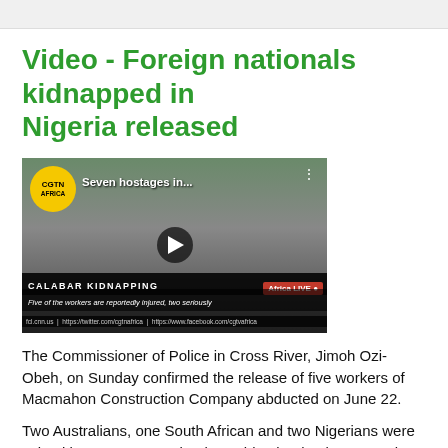Video - Foreign nationals kidnapped in Nigeria released
[Figure (screenshot): CGTN Africa video thumbnail showing a female reporter with 'Seven hostages in...' title text, CALABAR KIDNAPPING chyron, Africa LIVE badge, and subtitle 'Five of the workers are reportedly injured, two seriously']
The Commissioner of Police in Cross River, Jimoh Ozi-Obeh, on Sunday confirmed the release of five workers of Macmahon Construction Company abducted on June 22.
Two Australians, one South African and two Nigerians were seized by gunmen at Edundun Bridge in Akpabuyo Local